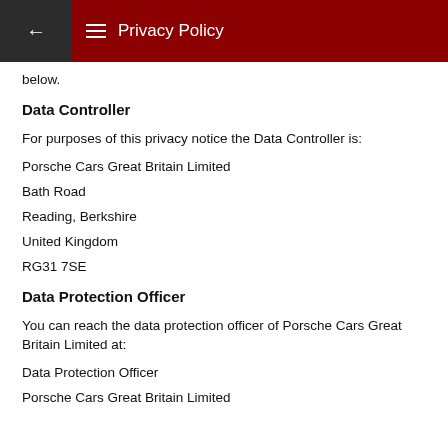Privacy Policy
below.
Data Controller
For purposes of this privacy notice the Data Controller is:
Porsche Cars Great Britain Limited
Bath Road
Reading, Berkshire
United Kingdom
RG31 7SE
Data Protection Officer
You can reach the data protection officer of Porsche Cars Great Britain Limited at:
Data Protection Officer
Porsche Cars Great Britain Limited